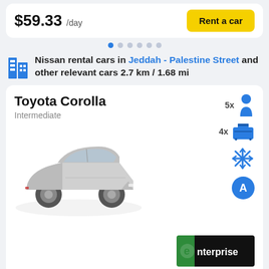$59.33 /day
Rent a car
Nissan rental cars in Jeddah - Palestine Street and other relevant cars 2.7 km / 1.68 mi
Toyota Corolla
Intermediate
[Figure (illustration): Toyota Corolla silver sedan car photo]
5x passengers, 4x luggage, air conditioning, automatic transmission
[Figure (logo): Enterprise rent-a-car logo — black background with green E and white text]